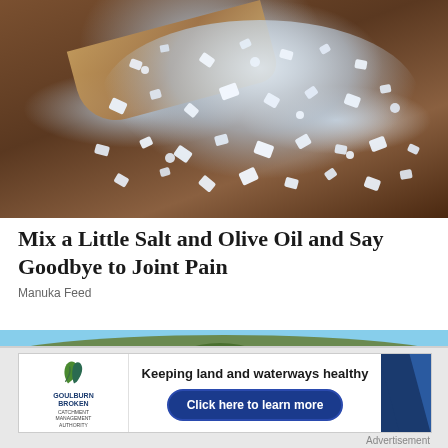[Figure (photo): Close-up photo of coarse salt crystals spilled from a wooden scoop onto a wooden surface. The salt is white/translucent and scattered across a brown wooden background.]
Mix a Little Salt and Olive Oil and Say Goodbye to Joint Pain
Manuka Feed
[Figure (photo): Landscape photo showing a forested hillside with dense green trees under a blue sky. Some cleared land or structures visible at bottom left.]
[Figure (other): Advertisement banner for Goulburn Broken Catchment Management Authority. Shows logo with leaf/hand graphic, text 'Keeping land and waterways healthy' and a button 'Click here to learn more' on a blue background with diagonal stripes.]
Advertisement